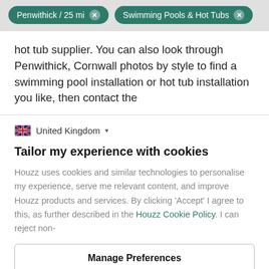Penwithick / 25 mi  ×    Swimming Pools & Hot Tubs  ×
hot tub supplier. You can also look through Penwithick, Cornwall photos by style to find a swimming pool installation or hot tub installation you like, then contact the
🇬🇧 United Kingdom ▾
Tailor my experience with cookies
Houzz uses cookies and similar technologies to personalise my experience, serve me relevant content, and improve Houzz products and services. By clicking 'Accept' I agree to this, as further described in the Houzz Cookie Policy. I can reject non-
Manage Preferences
Accept